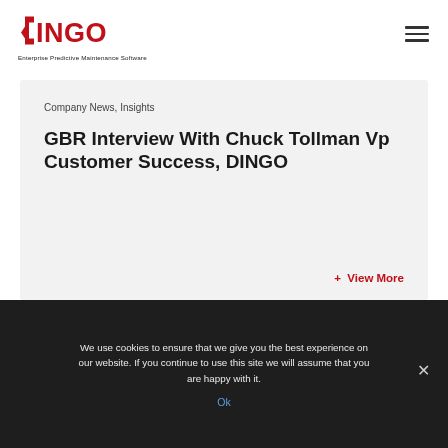DINGO — Enterprise Predictive Maintenance Software
Company News, Insights
GBR Interview With Chuck Tollman Vp Customer Success, DINGO
+ View More
We use cookies to ensure that we give you the best experience on our website. If you continue to use this site we will assume that you are happy with it.
Ok